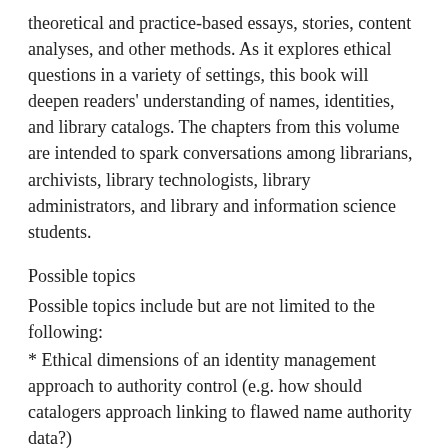theoretical and practice-based essays, stories, content analyses, and other methods. As it explores ethical questions in a variety of settings, this book will deepen readers' understanding of names, identities, and library catalogs. The chapters from this volume are intended to spark conversations among librarians, archivists, library technologists, library administrators, and library and information science students.
Possible topics
Possible topics include but are not limited to the following:
* Ethical dimensions of an identity management approach to authority control (e.g. how should catalogers approach linking to flawed name authority data?)
* Responses to the PCC Ad Hoc Task Group on Gender in Name Authority Records recommendations
* Representations of people with Arabic, CJK, and Indigenous names in Google Scholar, ISNI, ORCID, Scopus, and online repositories
* Applying contemporary gender and demographic terms to non-contemporary people